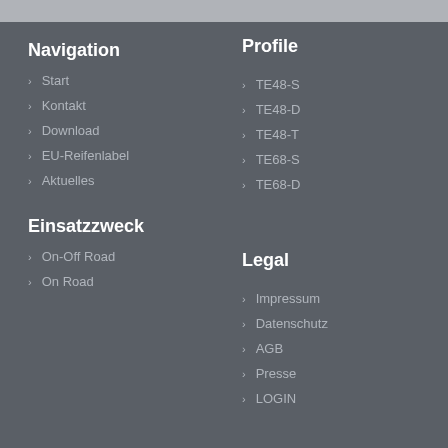Profile
Navigation
Start
Kontakt
Download
EU-Reifenlabel
Aktuelles
TE48-S
TE48-D
TE48-T
TE68-S
TE68-D
Einsatzzweck
Legal
On-Off Road
On Road
Impressum
Datenschutz
AGB
Presse
LOGIN